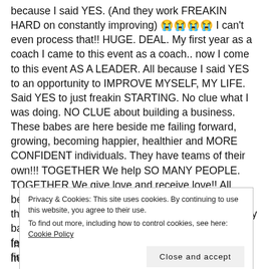because I said YES. (And they work FREAKIN HARD on constantly improving) 😭😭😭😭 I can't even process that!! HUGE. DEAL. My first year as a coach I came to this event as a coach.. now I come to this event AS A LEADER. All because I said YES to an opportunity to IMPROVE MYSELF, MY LIFE. Said YES to just freakin STARTING. No clue what I was doing. NO CLUE about building a business. These babes are here beside me failing forward, growing, becoming happier, healthier and MORE CONFIDENT individuals. They have teams of their own!!! TOGETHER We help SO MANY PEOPLE. TOGETHER We give love and receive love!! All because I just JUMPED IN and built MY wings on the way down. I go first. I do HARD SHIT to show my babes WE ARE STRONG AF TOGETHER. All the feels right now you guys. I can't even believe when I first started coaching I didn't think anyone would wanna do this with me
Privacy & Cookies: This site uses cookies. By continuing to use this website, you agree to their use. To find out more, including how to control cookies, see here: Cookie Policy
Introvert overload. Because I show up everyday for myself –